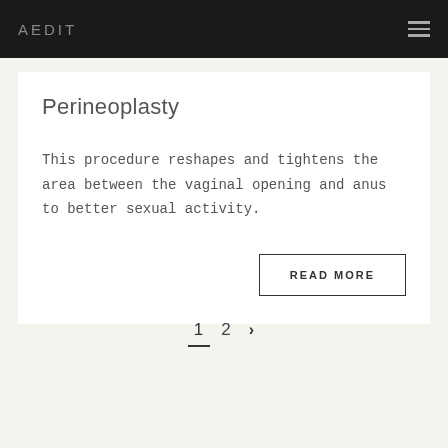AEDIT
Perineoplasty
This procedure reshapes and tightens the area between the vaginal opening and anus to better sexual activity.
READ MORE
1  2  ›